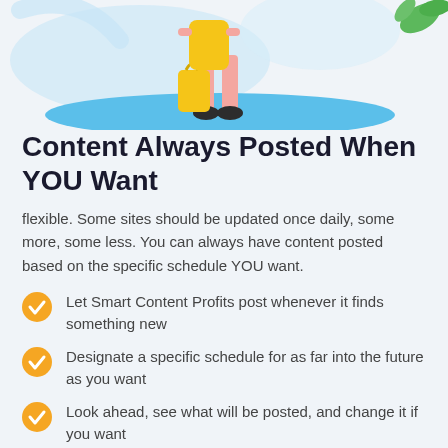[Figure (illustration): Illustration of a person standing on a blue oval/shadow with a yellow shopping bag, with decorative leaves in top-right corner and light blue background shapes]
Content Always Posted When YOU Want
flexible. Some sites should be updated once daily, some more, some less. You can always have content posted based on the specific schedule YOU want.
Let Smart Content Profits post whenever it finds something new
Designate a specific schedule for as far into the future as you want
Look ahead, see what will be posted, and change it if you want